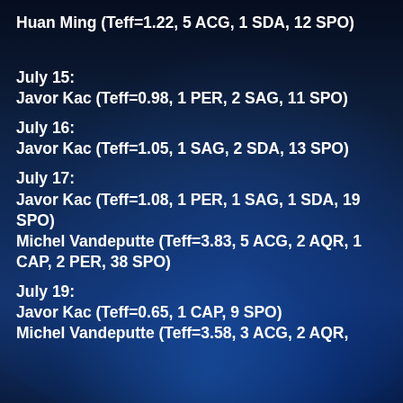Huan Ming (Teff=1.22, 5 ACG, 1 SDA, 12 SPO)
July 15:
Javor Kac (Teff=0.98, 1 PER, 2 SAG, 11 SPO)
July 16:
Javor Kac (Teff=1.05, 1 SAG, 2 SDA, 13 SPO)
July 17:
Javor Kac (Teff=1.08, 1 PER, 1 SAG, 1 SDA, 19 SPO)
Michel Vandeputte (Teff=3.83, 5 ACG, 2 AQR, 1 CAP, 2 PER, 38 SPO)
July 19:
Javor Kac (Teff=0.65, 1 CAP, 9 SPO)
Michel Vandeputte (Teff=3.58, 3 ACG, 2 AQR, 1 CAP, 1 PER, 45 SPO)